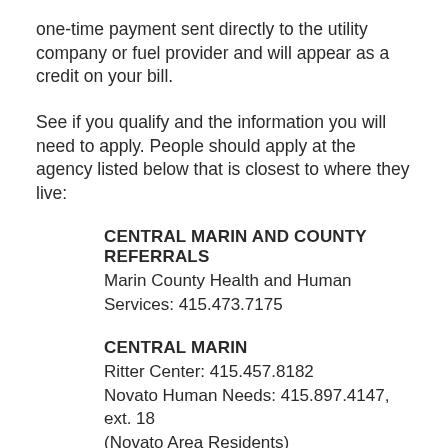one-time payment sent directly to the utility company or fuel provider and will appear as a credit on your bill.
See if you qualify and the information you will need to apply. People should apply at the agency listed below that is closest to where they live:
CENTRAL MARIN AND COUNTY REFERRALS
Marin County Health and Human Services: 415.473.7175
CENTRAL MARIN
Ritter Center: 415.457.8182
Novato Human Needs: 415.897.4147, ext. 18
(Novato Area Residents)